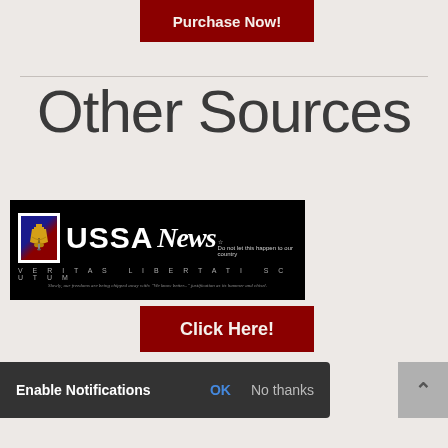[Figure (screenshot): Dark red 'Purchase Now!' button banner]
Other Sources
[Figure (logo): USSA News banner logo with Liberty Bell icon, text 'USSA News', tagline 'VERITAS LIBERTATI SCUTUM' and 'Slowly, our freedoms are being chipped away with: We know better... justification as its hammer and chisel.']
[Figure (screenshot): Dark red 'Click Here!' button banner]
Enable Notifications   OK   No thanks